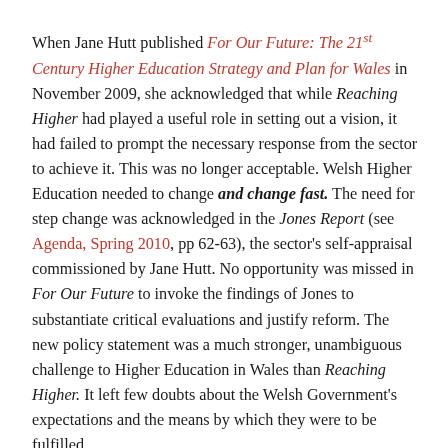When Jane Hutt published For Our Future: The 21st Century Higher Education Strategy and Plan for Wales in November 2009, she acknowledged that while Reaching Higher had played a useful role in setting out a vision, it had failed to prompt the necessary response from the sector to achieve it. This was no longer acceptable. Welsh Higher Education needed to change and change fast. The need for step change was acknowledged in the Jones Report (see Agenda, Spring 2010, pp 62-63), the sector's self-appraisal commissioned by Jane Hutt. No opportunity was missed in For Our Future to invoke the findings of Jones to substantiate critical evaluations and justify reform. The new policy statement was a much stronger, unambiguous challenge to Higher Education in Wales than Reaching Higher. It left few doubts about the Welsh Government's expectations and the means by which they were to be fulfilled.